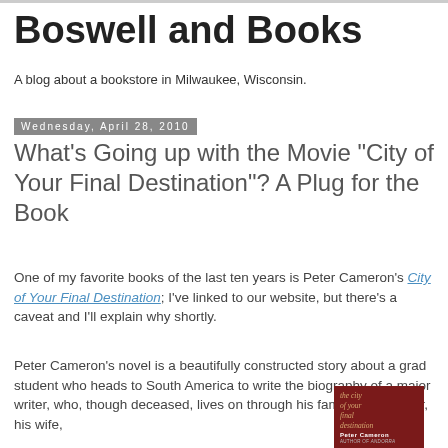Boswell and Books
A blog about a bookstore in Milwaukee, Wisconsin.
Wednesday, April 28, 2010
What's Going up with the Movie "City of Your Final Destination"? A Plug for the Book
One of my favorite books of the last ten years is Peter Cameron's City of Your Final Destination; I've linked to our website, but there's a caveat and I'll explain why shortly.
Peter Cameron's novel is a beautifully constructed story about a grad student who heads to South America to write the biography of a major writer, who, though deceased, lives on through his family. His brother, his wife,
[Figure (photo): Book cover of 'The City of Your Final Destination' by Peter Cameron, dark red/maroon cover with white and gold text.]